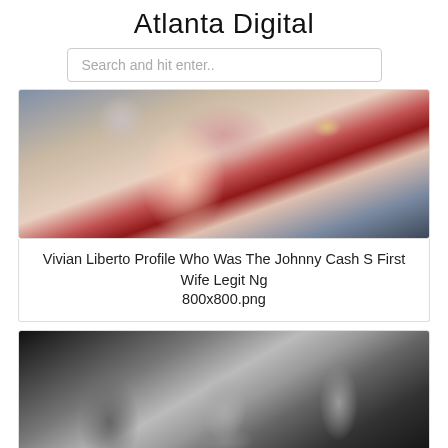Atlanta Digital
Search and hit enter..
[Figure (photo): Close-up color photo of a smiling older woman with gray hair, bright red lipstick, and earrings]
Vivian Liberto Profile Who Was The Johnny Cash S First Wife Legit Ng
800x800.png
[Figure (photo): Black and white photo of a man playing guitar while sitting with children and a woman in a domestic setting]